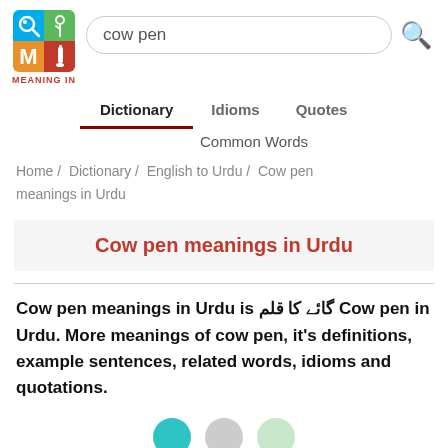[Figure (logo): Meaning In logo — 2x2 colored grid with magnifier, plant, M, and pen icons; red MEANING IN text below]
cow pen (search box)
Dictionary  Idioms  Quotes
Common Words
Home / Dictionary / English to Urdu / Cow pen meanings in Urdu
Cow pen meanings in Urdu
Cow pen meanings in Urdu is گائے کا قلم Cow pen in Urdu. More meanings of cow pen, it's definitions, example sentences, related words, idioms and quotations.